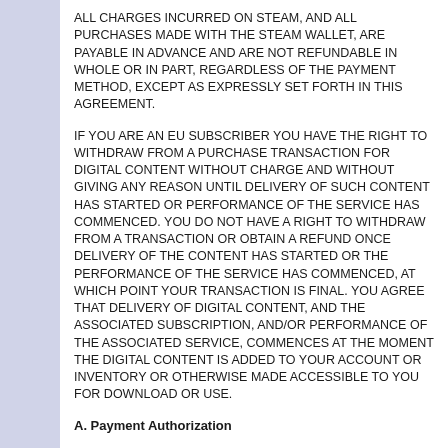ALL CHARGES INCURRED ON STEAM, AND ALL PURCHASES MADE WITH THE STEAM WALLET, ARE PAYABLE IN ADVANCE AND ARE NOT REFUNDABLE IN WHOLE OR IN PART, REGARDLESS OF THE PAYMENT METHOD, EXCEPT AS EXPRESSLY SET FORTH IN THIS AGREEMENT.
IF YOU ARE AN EU SUBSCRIBER YOU HAVE THE RIGHT TO WITHDRAW FROM A PURCHASE TRANSACTION FOR DIGITAL CONTENT WITHOUT CHARGE AND WITHOUT GIVING ANY REASON UNTIL DELIVERY OF SUCH CONTENT HAS STARTED OR PERFORMANCE OF THE SERVICE HAS COMMENCED. YOU DO NOT HAVE A RIGHT TO WITHDRAW FROM A TRANSACTION OR OBTAIN A REFUND ONCE DELIVERY OF THE CONTENT HAS STARTED OR THE PERFORMANCE OF THE SERVICE HAS COMMENCED, AT WHICH POINT YOUR TRANSACTION IS FINAL. YOU AGREE THAT DELIVERY OF DIGITAL CONTENT, AND THE ASSOCIATED SUBSCRIPTION, AND/OR PERFORMANCE OF THE ASSOCIATED SERVICE, COMMENCES AT THE MOMENT THE DIGITAL CONTENT IS ADDED TO YOUR ACCOUNT OR INVENTORY OR OTHERWISE MADE ACCESSIBLE TO YOU FOR DOWNLOAD OR USE.
A. Payment Authorization